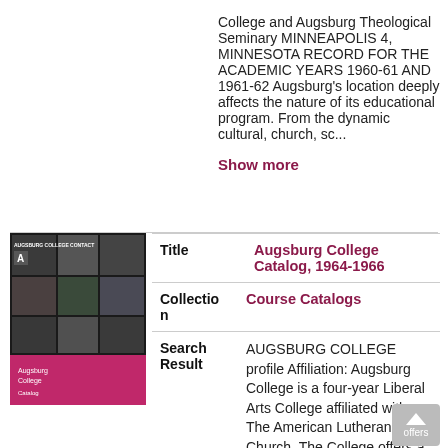College and Augsburg Theological Seminary MINNEAPOLIS 4, MINNESOTA RECORD FOR THE ACADEMIC YEARS 1960-61 AND 1961-62 Augsburg's location deeply affects the nature of its educational program. From the dynamic cultural, church, sc...
Show more
[Figure (photo): Thumbnail cover image of Augsburg College Catalog, 1964-1966, showing a grid of black and white photos with a pink/magenta lower section and text.]
| Title | Augsburg College Catalog, 1964-1966 |
| Collection | Course Catalogs |
| Search Result | AUGSBURG COLLEGE profile Affiliation: Augsburg College is a four-year Liberal Arts College affiliated with The American Lutheran Church. The College offers a broad education in a Christian |